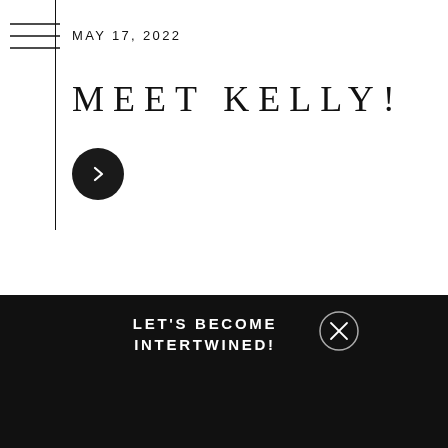MAY 17, 2022
MEET KELLY!
[Figure (other): Dark circular button with a right-pointing chevron arrow]
LET'S BECOME INTERTWINED!
[Figure (other): Circle with X icon]
CONNECT WITH US TODAY